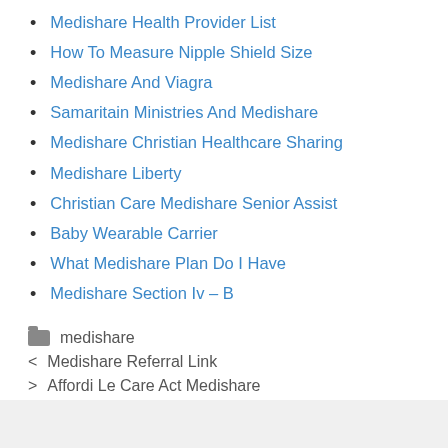Medishare Health Provider List
How To Measure Nipple Shield Size
Medishare And Viagra
Samaritain Ministries And Medishare
Medishare Christian Healthcare Sharing
Medishare Liberty
Christian Care Medishare Senior Assist
Baby Wearable Carrier
What Medishare Plan Do I Have
Medishare Section Iv – B
medishare
< Medishare Referral Link
> Affordi Le Care Act Medishare